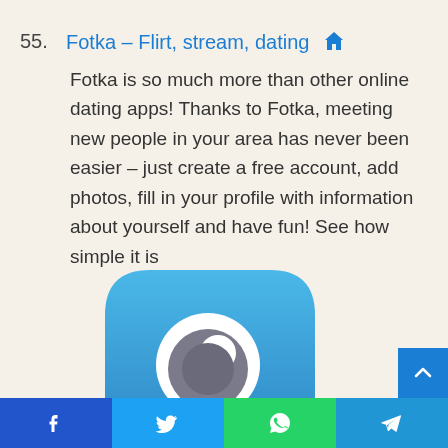55. Fotka – Flirt, stream, dating 🏠
Fotka is so much more than other online dating apps! Thanks to Fotka, meeting new people in your area has never been easier – just create a free account, add photos, fill in your profile with information about yourself and have fun! See how simple it is
[Figure (logo): Fotka app logo: rounded blue speech bubble shape with a white circle containing a grey arc/eye symbol inside]
Facebook | Twitter | WhatsApp | Telegram share buttons